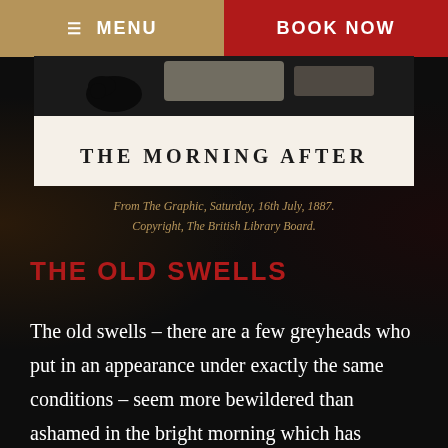≡ MENU | BOOK NOW
[Figure (photo): Photograph or illustration from The Graphic newspaper showing 'THE MORNING AFTER' title text on a cream background with a dark ink blot or image at the top]
From The Graphic, Saturday, 16th July, 1887.
Copyright, The British Library Board.
THE OLD SWELLS
The old swells – there are a few greyheads who put in an appearance under exactly the same conditions – seem more bewildered than ashamed in the bright morning which has brought